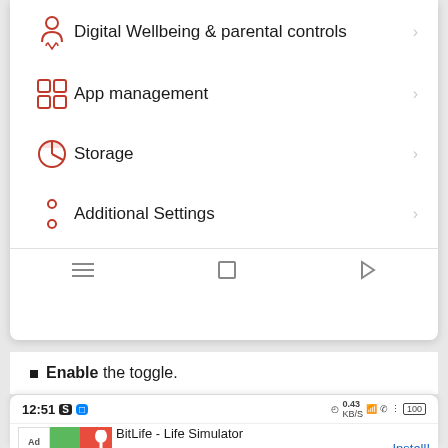[Figure (screenshot): Android settings menu showing items: Digital Wellbeing & parental controls, App management, Storage, Additional Settings, with navigation bar at bottom]
Enable the toggle.
[Figure (screenshot): Android phone screenshot showing status bar with time 12:51, notification icons, and a BitLife - Life Simulator advertisement with Install button]